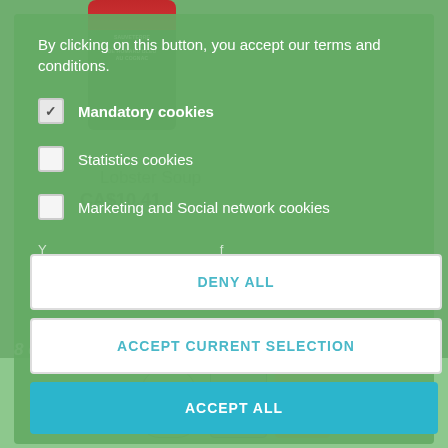[Figure (screenshot): Cookie consent overlay dialog on a green-themed e-commerce product page showing a lobster soup product. The overlay contains cookie preference options and three action buttons.]
By clicking on this button, you accept our terms and conditions.
✓ Mandatory cookies
Statistics cookies
Marketing and Social network cookies
8 other products in the same category.
DENY ALL
ACCEPT CURRENT SELECTION
ACCEPT ALL